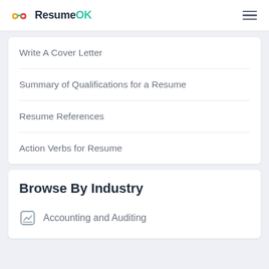ResumeOK
Write A Cover Letter
Summary of Qualifications for a Resume
Resume References
Action Verbs for Resume
Browse By Industry
Accounting and Auditing